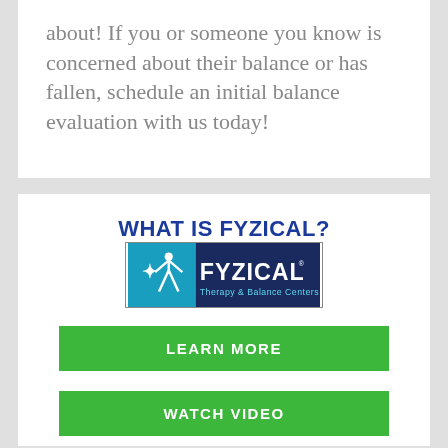about! If you or someone you know is concerned about their balance or has fallen, schedule an initial balance evaluation with us today!
WHAT IS FYZICAL?
[Figure (logo): FYZICAL Therapy & Balance Centers logo — blue and teal rectangular logo with a stylized human figure and the text FYZICAL in large white letters on a dark blue background, with 'Therapy & Balance Centers' in teal below.]
LEARN MORE
WATCH VIDEO